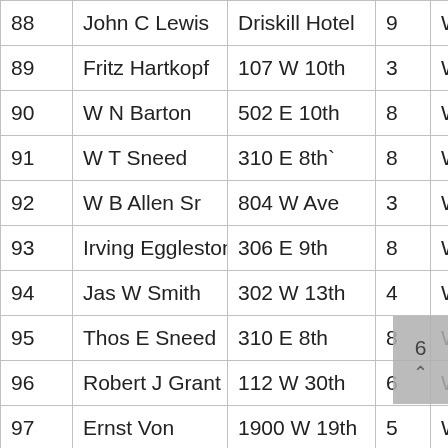| # | Name | Address | Ward |  |
| --- | --- | --- | --- | --- |
| 88 | John C Lewis | Driskill Hotel | 9 | W |
| 89 | Fritz Hartkopf | 107 W 10th | 3 | W |
| 90 | W N Barton | 502 E 10th | 8 | W |
| 91 | W T Sneed | 310 E 8th` | 8 | W |
| 92 | W B Allen Sr | 804 W Ave | 3 | W |
| 93 | Irving Eggleston | 306 E 9th | 8 | W |
| 94 | Jas W Smith | 302 W 13th | 4 | W |
| 95 | Thos E Sneed | 310 E 8th | 8 | W |
| 96 | Robert J Grant | 112 W 30th | 6 | W |
| 97 | Ernst Von | 1900 W 19th | 5 | W |